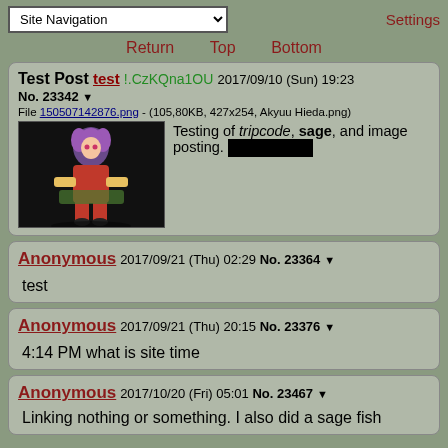Site Navigation | Settings
Return  Top  Bottom
Test Post test !.CzKQna1OU 2017/09/10 (Sun) 19:23
No. 23342
File 150507142876.png - (105.80KB, 427x254, Akyuu Hieda.png)
Testing of tripcode, sage, and image posting. [redacted]
Anonymous 2017/09/21 (Thu) 02:29 No. 23364
test
Anonymous 2017/09/21 (Thu) 20:15 No. 23376
4:14 PM what is site time
Anonymous 2017/10/20 (Fri) 05:01 No. 23467
Linking nothing or something. I also did a sage fish